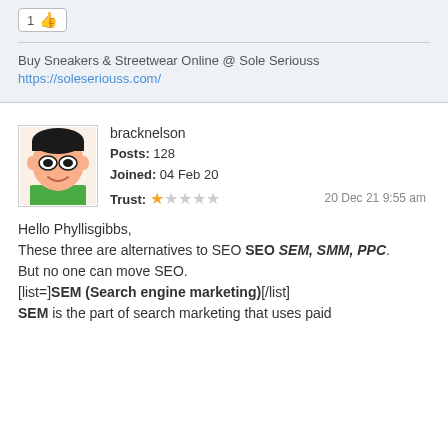[Figure (other): Like button showing count 1 with thumbs up icon]
Buy Sneakers & Streetwear Online @ Sole Seriouss
https://soleseriouss.com/
[Figure (illustration): Avatar image of cartoon character resembling Robin (Teen Titans) with black hair and mask]
bracknelson
Posts: 128
Joined: 04 Feb 20
Trust: ★☆☆☆☆
20 Dec 21 9:55 am
Hello Phyllisgibbs,
These three are alternatives to SEO SEM, SMM, PPC.
But no one can move SEO.
[list=]SEM (Search engine marketing)[/list]
SEM is the part of search marketing that uses paid